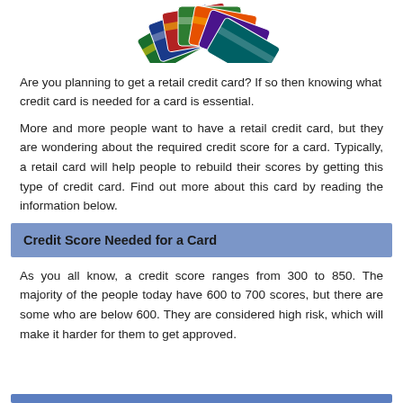[Figure (photo): Stack of various retail credit cards fanned out]
Are you planning to get a retail credit card? If so then knowing what credit card is needed for a card is essential.
More and more people want to have a retail credit card, but they are wondering about the required credit score for a card. Typically, a retail card will help people to rebuild their scores by getting this type of credit card. Find out more about this card by reading the information below.
Credit Score Needed for a Card
As you all know, a credit score ranges from 300 to 850. The majority of the people today have 600 to 700 scores, but there are some who are below 600. They are considered high risk, which will make it harder for them to get approved.